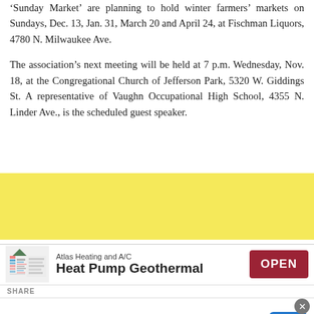'Sunday Market' are planning to hold winter farmers' markets on Sundays, Dec. 13, Jan. 31, March 20 and April 24, at Fischman Liquors, 4780 N. Milwaukee Ave.
The association's next meeting will be held at 7 p.m. Wednesday, Nov. 18, at the Congregational Church of Jefferson Park, 5320 W. Giddings St. A representative of Vaughn Occupational High School, 4355 N. Linder Ave., is the scheduled guest speaker.
[Figure (other): Yellow advertisement banner band]
[Figure (other): Atlas Heating and A/C advertisement with logo, 'Heat Pump Geothermal' text and red OPEN button]
SHARE
[Figure (other): Walgreens Photo advertisement: 'Satisfaction Guaranteed' with Walgreens logo, 'Walgreens Photo' in blue text, navigation icon, and close button]